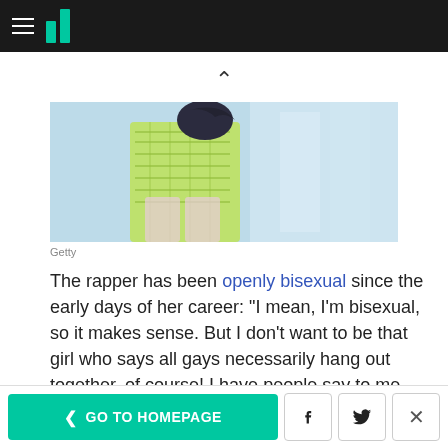HuffPost navigation bar with hamburger menu and logo
[Figure (photo): A person wearing a green patterned outfit with dark curly hair against a light blue background, cropped to show torso and legs.]
Getty
The rapper has been openly bisexual since the early days of her career: "I mean, I'm bisexual, so it makes sense. But I don't want to be that girl who says all gays necessarily hang out together, of course! I have people say to me, 'Oh wow, my friend is gay, too,' and I'm like, 'Yeah, so?'"
< GO TO HOMEPAGE